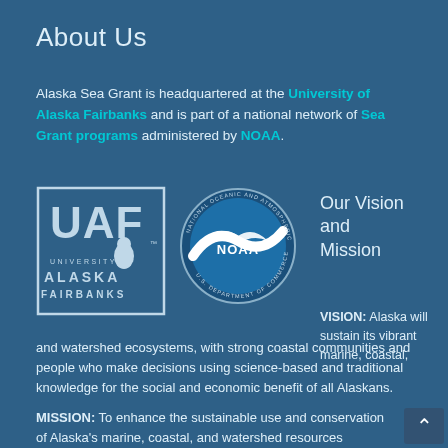About Us
Alaska Sea Grant is headquartered at the University of Alaska Fairbanks and is part of a national network of Sea Grant programs administered by NOAA.
[Figure (logo): UAF (University of Alaska Fairbanks) logo and NOAA (National Oceanic and Atmospheric Administration) circular seal logo side by side]
Our Vision and Mission
VISION: Alaska will sustain its vibrant marine, coastal, and watershed ecosystems, with strong coastal communities and people who make decisions using science-based and traditional knowledge for the social and economic benefit of all Alaskans.
MISSION: To enhance the sustainable use and conservation of Alaska's marine, coastal, and watershed resources through research, education, and extension.